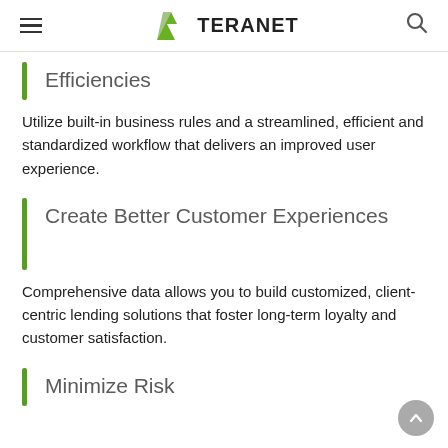TERANET
Efficiencies
Utilize built-in business rules and a streamlined, efficient and standardized workflow that delivers an improved user experience.
Create Better Customer Experiences
Comprehensive data allows you to build customized, client-centric lending solutions that foster long-term loyalty and customer satisfaction.
Minimize Risk